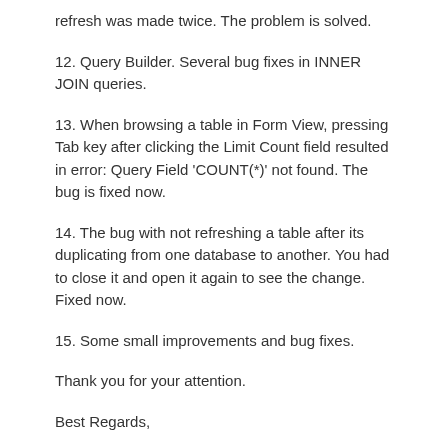refresh was made twice. The problem is solved.
12. Query Builder. Several bug fixes in INNER JOIN queries.
13. When browsing a table in Form View, pressing Tab key after clicking the Limit Count field resulted in error: Query Field 'COUNT(*)' not found. The bug is fixed now.
14. The bug with not refreshing a table after its duplicating from one database to another. You had to close it and open it again to see the change. Fixed now.
15. Some small improvements and bug fixes.
Thank you for your attention.
Best Regards,